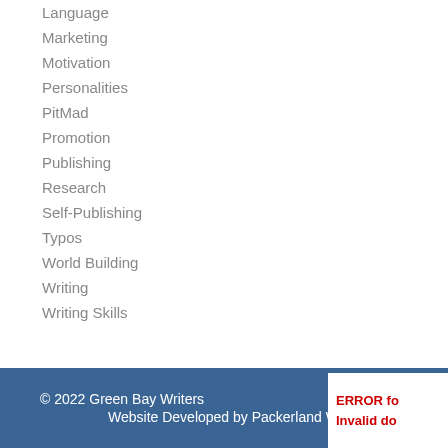Language
Marketing
Motivation
Personalities
PitMad
Promotion
Publishing
Research
Self-Publishing
Typos
World Building
Writing
Writing Skills
© 2022 Green Bay Writers
Website Developed by Packerland Web